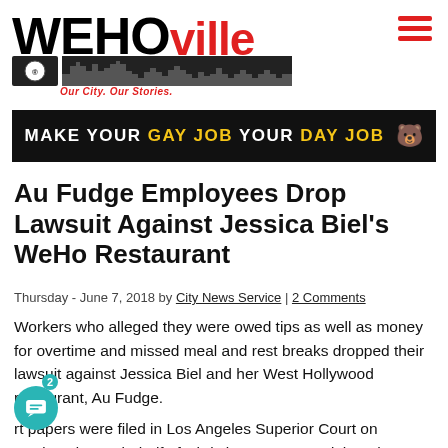[Figure (logo): WEHOville logo with skyline silhouette and tagline 'Our City. Our Stories.']
[Figure (infographic): Advertisement banner: 'MAKE YOUR GAY JOB YOUR DAY JOB' with Grindr bear icon on black background]
Au Fudge Employees Drop Lawsuit Against Jessica Biel's WeHo Restaurant
Thursday - June 7, 2018 by City News Service | 2 Comments
Workers who alleged they were owed tips as well as money for overtime and missed meal and rest breaks dropped their lawsuit against Jessica Biel and her West Hollywood restaurant, Au Fudge.
rt papers were filed in Los Angeles Superior Court on Wednesday on behalf of Christina Desage and the other